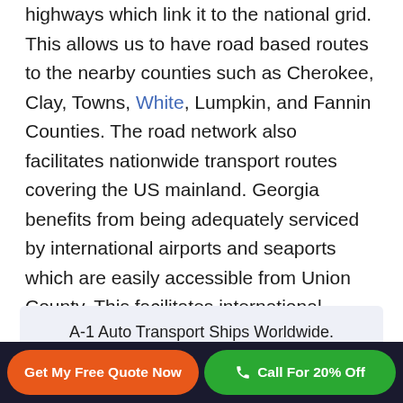highways which link it to the national grid. This allows us to have road based routes to the nearby counties such as Cherokee, Clay, Towns, White, Lumpkin, and Fannin Counties. The road network also facilitates nationwide transport routes covering the US mainland. Georgia benefits from being adequately serviced by international airports and seaports which are easily accessible from Union County. This facilitates international shipping by air or sea to any global location.
A-1 Auto Transport Ships Worldwide. Get a Free, No Obligation to Buy, Auto
Get My Free Quote Now
Call For 20% Off